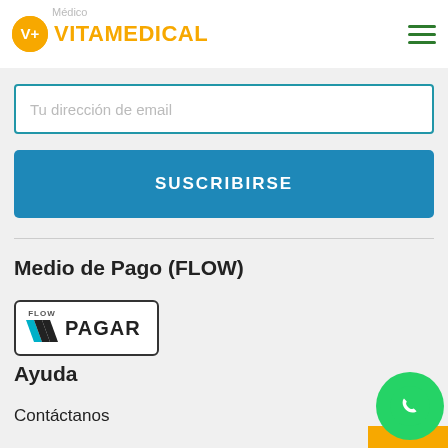Médico
[Figure (logo): VitaMedical logo with orange V+ circle and orange VITAMEDICAL text, and hamburger menu icon on right]
Tu dirección de email
SUSCRIBIRSE
Medio de Pago (FLOW)
[Figure (logo): FLOW PAGAR button with Flow logo (W shape in teal/black) and PAGAR text, bordered rectangle]
Ayuda
Contáctanos
[Figure (illustration): WhatsApp green circle icon with phone handset symbol, partially visible at bottom right]